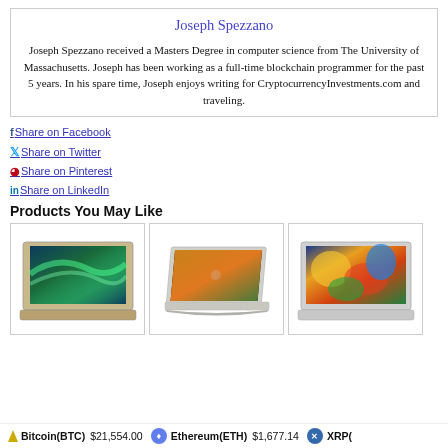Joseph Spezzano
Joseph Spezzano received a Masters Degree in computer science from The University of Massachusetts. Joseph has been working as a full-time blockchain programmer for the past 5 years. In his spare time, Joseph enjoys writing for CryptocurrencyInvestments.com and traveling.
Share on Facebook
Share on Twitter
Share on Pinterest
Share on LinkedIn
Products You May Like
[Figure (photo): Laptop with aurora borealis wallpaper]
[Figure (photo): MacBook Air open at angle]
[Figure (photo): Acer laptop with colorful wallpaper]
Bitcoin(BTC) $21,554.00   Ethereum(ETH) $1,677.14   XRP(...)